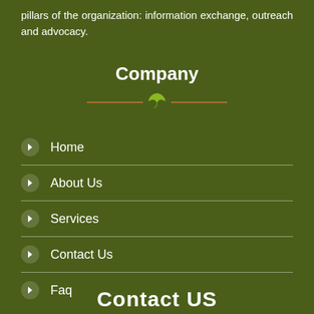pillars of the organization: information exchange, outreach and advocacy.
Company
Home
About Us
Services
Contact Us
Faq
Contact US